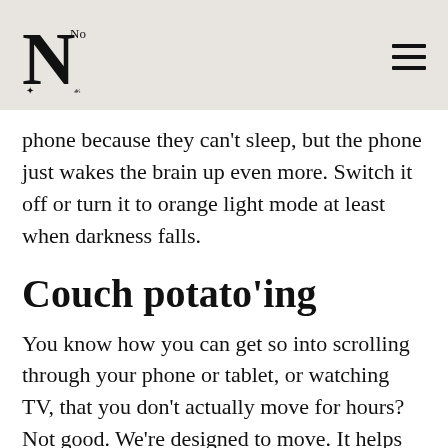N
phone because they can't sleep, but the phone just wakes the brain up even more. Switch it off or turn it to orange light mode at least when darkness falls.
Couch potato'ing
You know how you can get so into scrolling through your phone or tablet, or watching TV, that you don't actually move for hours? Not good. We're designed to move. It helps food to digest, it improves mood, circulation, organ function, leg strength, flexibility, blood sugar, energy burn/metabolism and is 100% necessary for good health. The percentage of screen time that